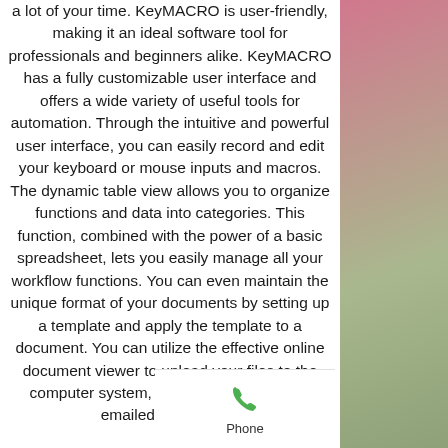a lot of your time. KeyMACRO is user-friendly, making it an ideal software tool for professionals and beginners alike. KeyMACRO has a fully customizable user interface and offers a wide variety of useful tools for automation. Through the intuitive and powerful user interface, you can easily record and edit your keyboard or mouse inputs and macros. The dynamic table view allows you to organize functions and data into categories. This function, combined with the power of a basic spreadsheet, lets you easily manage all your workflow functions. You can even maintain the unique format of your documents by setting up a template and apply the template to a document. You can utilize the effective online document viewer to upload your files to the computer system, including scanned and emailed images and
[Figure (illustration): Green phone handset icon with 'Phone' label below]